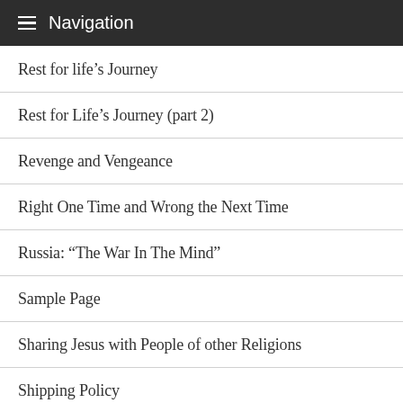Navigation
Rest for life’s Journey
Rest for Life’s Journey (part 2)
Revenge and Vengeance
Right One Time and Wrong the Next Time
Russia: “The War In The Mind”
Sample Page
Sharing Jesus with People of other Religions
Shipping Policy
Simon Chapter 1